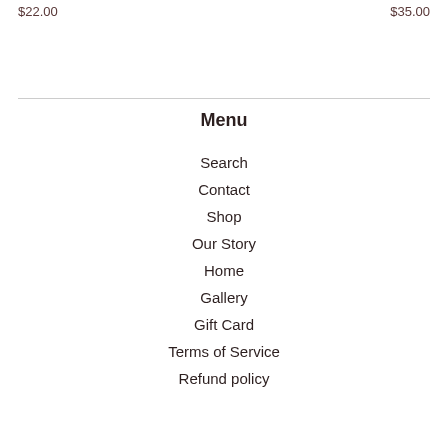$22.00
$35.00
Menu
Search
Contact
Shop
Our Story
Home
Gallery
Gift Card
Terms of Service
Refund policy